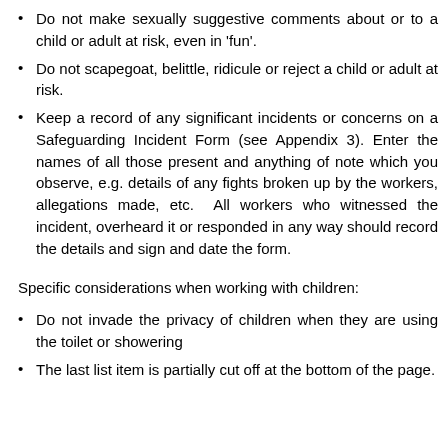Do not make sexually suggestive comments about or to a child or adult at risk, even in 'fun'.
Do not scapegoat, belittle, ridicule or reject a child or adult at risk.
Keep a record of any significant incidents or concerns on a Safeguarding Incident Form (see Appendix 3). Enter the names of all those present and anything of note which you observe, e.g. details of any fights broken up by the workers, allegations made, etc. All workers who witnessed the incident, overheard it or responded in any way should record the details and sign and date the form.
Specific considerations when working with children:
Do not invade the privacy of children when they are using the toilet or showering
The last list item (partially visible)